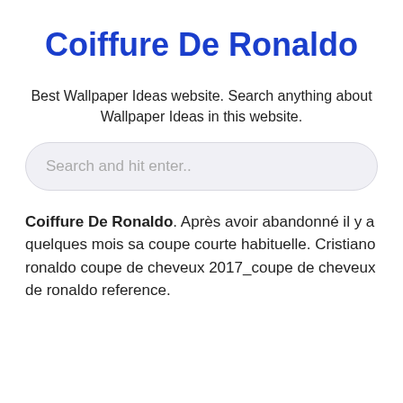Coiffure De Ronaldo
Best Wallpaper Ideas website. Search anything about Wallpaper Ideas in this website.
Search and hit enter..
Coiffure De Ronaldo. Après avoir abandonné il y a quelques mois sa coupe courte habituelle. Cristiano ronaldo coupe de cheveux 2017_coupe de cheveux de ronaldo reference.